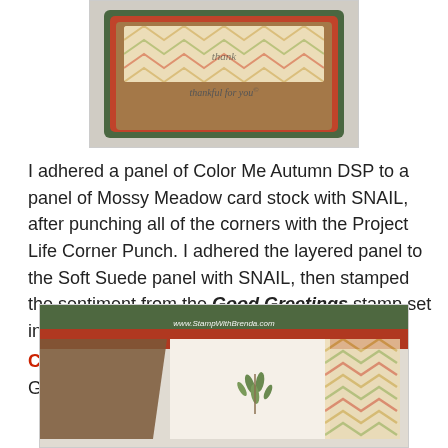[Figure (photo): Handmade greeting card with Mossy Meadow green background, red layer, brown Soft Suede panel, patterned DSP panel with chevron design, and stamped sentiment 'thankful for you']
I adhered a panel of Color Me Autumn DSP to a panel of Mossy Meadow card stock with SNAIL, after punching all of the corners with the Project Life Corner Punch.  I adhered the layered panel to the Soft Suede panel with SNAIL, then stamped the sentiment from the Good Greetings stamp set in Mossy Meadow ink under the panel.
Click here to learn how you can earn the Good Greetings stamp set for free!
[Figure (photo): Partial view of handmade card showing diagonal brown and green bands, patterned DSP with chevron design, and stamped leaf image on cream panel, with watermark www.StampWithBrenda.com and Images © Stampin' Up!]